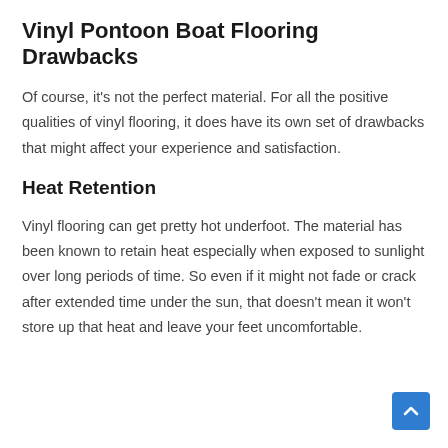Vinyl Pontoon Boat Flooring Drawbacks
Of course, it's not the perfect material. For all the positive qualities of vinyl flooring, it does have its own set of drawbacks that might affect your experience and satisfaction.
Heat Retention
Vinyl flooring can get pretty hot underfoot. The material has been known to retain heat especially when exposed to sunlight over long periods of time. So even if it might not fade or crack after extended time under the sun, that doesn't mean it won't store up that heat and leave your feet uncomfortable.